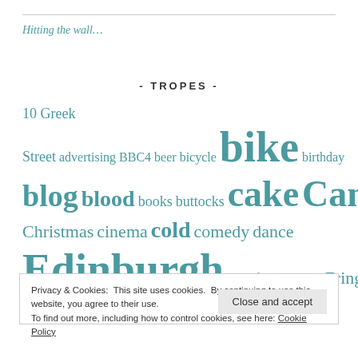Hitting the wall…
- TROPES -
10 Greek Street advertising BBC4 beer bicycle bike birthday blog blood books buttocks cake Cambridge Christmas cinema cold comedy dance Edinburgh essay film football Fringe government
Privacy & Cookies: This site uses cookies. By continuing to use this website, you agree to their use. To find out more, including how to control cookies, see here: Cookie Policy
Close and accept